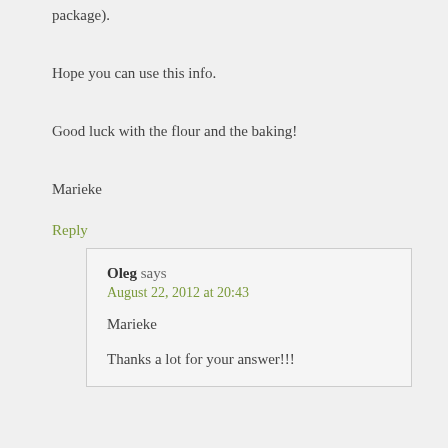package).
Hope you can use this info.
Good luck with the flour and the baking!
Marieke
Reply
Oleg says
August 22, 2012 at 20:43
Marieke
Thanks a lot for your answer!!!